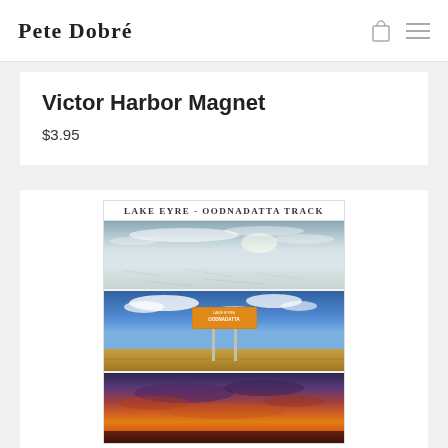Pete Dobré
Victor Harbor Magnet
$3.95
[Figure (photo): Magnet product image titled 'Lake Eyre - Oodnadatta Track' featuring three stacked photographic panels: top panel showing a white salt lake under a cloudy sky, middle panel showing an outback road sign against a vivid blue sky with arid flat landscape, and bottom panel showing a dramatic sunset with purple and orange clouds over flat terrain.]